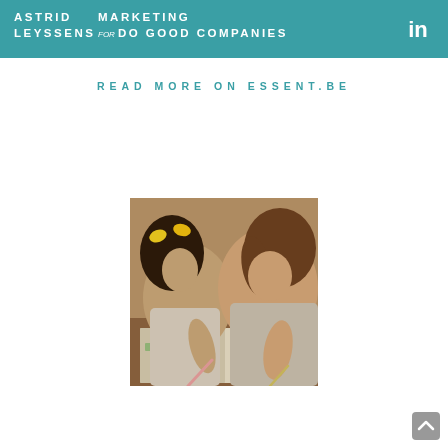ASTRID LEYSSENS — MARKETING for DO GOOD COMPANIES
READ MORE ON ESSENT.BE
[Figure (photo): Two young girls leaning over an open book/workbook on a desk, writing with pencils. One girl has yellow ribbons in her dark hair.]